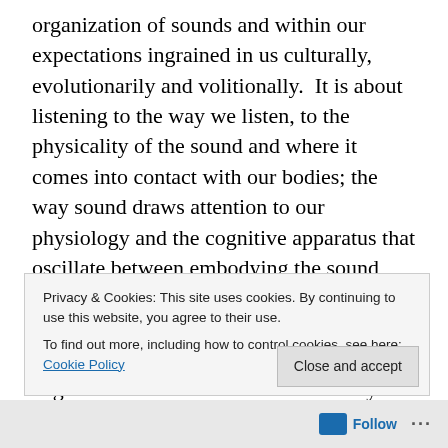organization of sounds and within our expectations ingrained in us culturally, evolutionarily and volitionally. It is about listening to the way we listen, to the physicality of the sound and where it comes into contact with our bodies; the way sound draws attention to our physiology and the cognitive apparatus that oscillate between embodying the sound and abstracting its lines of affect through our sensorineural pathways. It is about the small and seemingly insignificant ways the angle of our heads affect the directivity and receptivity of sound, or even to the way our bodies' position on a chair, on the floor or in
Privacy & Cookies: This site uses cookies. By continuing to use this website, you agree to their use.
To find out more, including how to control cookies, see here: Cookie Policy
Close and accept
Follow ···